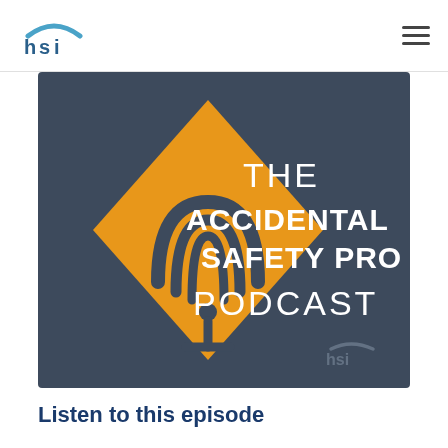HSI logo and navigation
[Figure (illustration): The Accidental Safety Pro Podcast cover art. Dark gray background with an orange diamond road-sign shape containing a podcast mic/signal icon. White text reads: THE ACCIDENTAL SAFETY PRO PODCAST. HSI logo watermark in bottom right.]
Listen to this episode